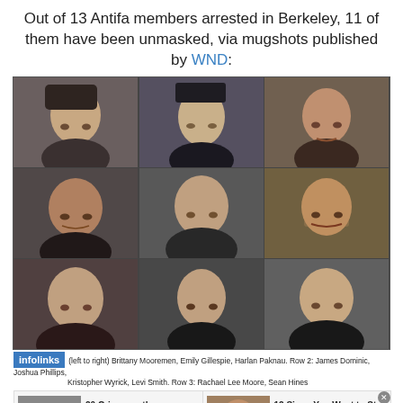Out of 13 Antifa members arrested in Berkeley, 11 of them have been unmasked, via mugshots published by WND:
[Figure (photo): Grid of 11 mugshot photos of arrested Antifa members in Berkeley, arranged in 3 rows: Row 1 (3 photos, center larger), Row 2 (4 photos), Row 3 (4 photos).]
(left to right) Brittany Mooremen, Emily Gillespie, Harlan Paknau. Row 2: James Dominic, Joshua Phillips, Kristopher Wyrick, Levi Smith. Row 3: Rachael Lee Moore, Sean Hines